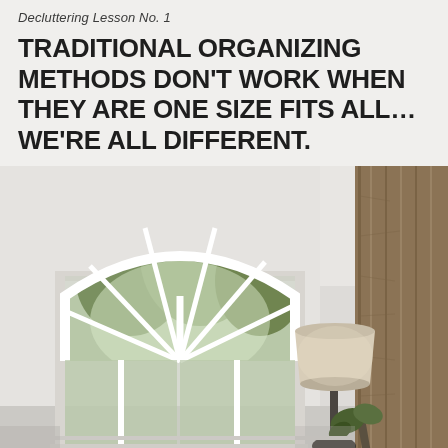Decluttering Lesson No. 1
TRADITIONAL ORGANIZING METHODS DON'T WORK WHEN THEY ARE ONE SIZE FITS ALL… WE'RE ALL DIFFERENT.
[Figure (photo): Interior room photo showing a bright minimalist living space with a large arched window with fanlight divided by radiating mullions, white walls, a floor lamp with a beige cylindrical shade on a dark base, green plants, and a tall wooden panel or wardrobe on the right side.]